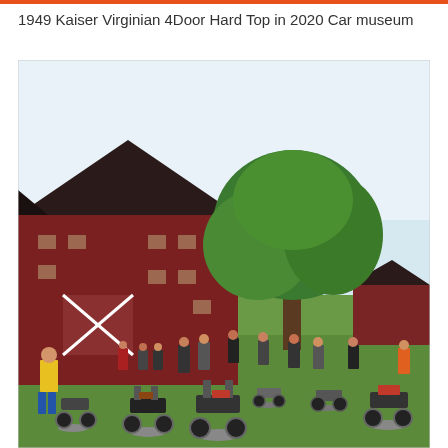1949 Kaiser Virginian 4Door Hard Top in 2020 Car museum
[Figure (photo): Outdoor motorcycle gathering on a green lawn in front of a large red barn. Numerous motorcycles are parked on the grass with many people milling around them. A large green tree stands behind the barn. A smaller red building is visible in the background on the right. A person in a yellow shirt stands on the far left.]